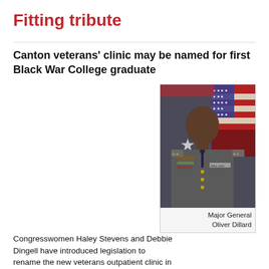Fitting tribute
Canton veterans' clinic may be named for first Black War College graduate
Congresswomen Haley Stevens and Debbie Dingell have introduced legislation to rename the new veterans outpatient clinic in Canton Township after Major General Oliver W. Dillard, the first black officer to graduate from the National War College.
[Figure (photo): Portrait photo of Major General Oliver Dillard in military uniform with US flag and military flag in background]
Major General Oliver Dillard
Mr. Dillard, a resident of Canton Township, began his career of service in 1945 when he was first drafted during World War II. He was selected to serve as company clerk and began to work his way through the ranks. In 1965, Mr. Dillard graduated from the National War College, becoming the first black officer to do so. Throughout Mr. Dillard's distinguished service career, he held various esteemed positions and